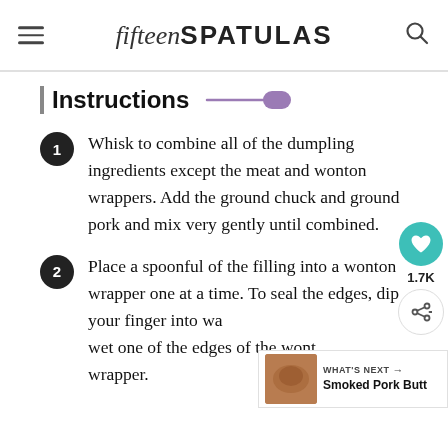fifteen SPATULAS
Instructions
Whisk to combine all of the dumpling ingredients except the meat and wonton wrappers. Add the ground chuck and ground pork and mix very gently until combined.
Place a spoonful of the filling into a wonton wrapper one at a time. To seal the edges, dip your finger into water and wet one of the edges of the wonton wrapper.